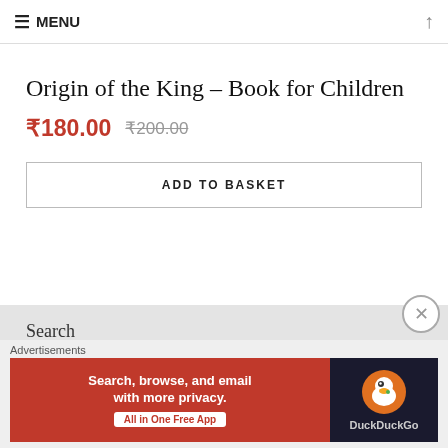≡ MENU  ↑
Origin of the King – Book for Children
₹180.00  ₹200.00
ADD TO BASKET
Search
Search this website...
This is an example of a sitewide notice - you can
Sort by
Advertisements
[Figure (screenshot): DuckDuckGo advertisement banner: orange left panel with 'Search, browse, and email with more privacy. All in One Free App' and dark right panel with DuckDuckGo logo]